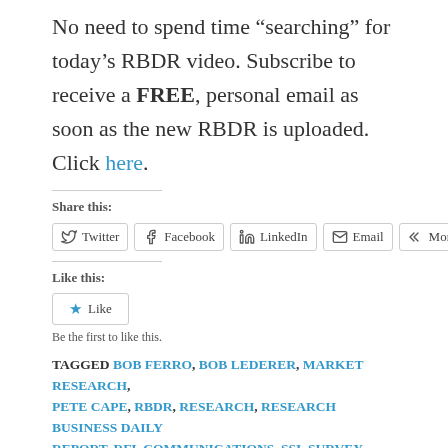No need to spend time “searching” for today’s RBDR video. Subscribe to receive a FREE, personal email as soon as the new RBDR is uploaded. Click here.
Share this:
Twitter | Facebook | LinkedIn | Email | More
Like this:
Like
Be the first to like this.
TAGGED BOB FERRO, BOB LEDERER, MARKET RESEARCH, PETE CAPE, RBDR, RESEARCH, RESEARCH BUSINESS DAILY REPORT, RFL COMMUNICATIONS, SSI, SURVEY SAMPLING, SURVEY SAMPLING INTERNATIONAL, TRUSTED TALENT,